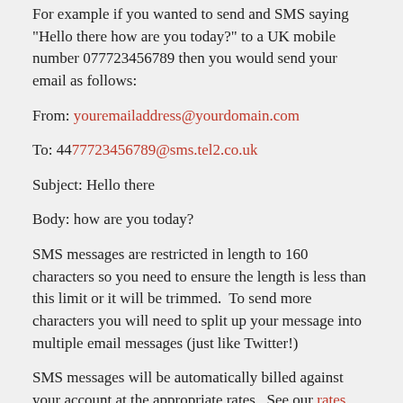For example if you wanted to send and SMS saying "Hello there how are you today?" to a UK mobile number 077723456789 then you would send your email as follows:
From: youremailaddress@yourdomain.com
To: 4477723456789@sms.tel2.co.uk
Subject: Hello there
Body: how are you today?
SMS messages are restricted in length to 160 characters so you need to ensure the length is less than this limit or it will be trimmed.  To send more characters you will need to split up your message into multiple email messages (just like Twitter!)
SMS messages will be automatically billed against your account at the appropriate rates.  See our rates page for